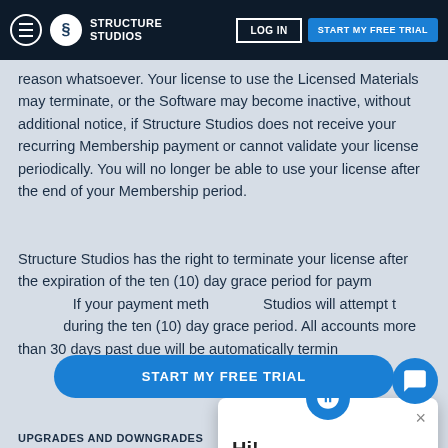Structure Studios — LOG IN | START MY FREE TRIAL
reason whatsoever. Your license to use the Licensed Materials may terminate, or the Software may become inactive, without additional notice, if Structure Studios does not receive your recurring Membership payment or cannot validate your license periodically. You will no longer be able to use your license after the end of your Membership period.
Structure Studios has the right to terminate your license after the expiration of the ten (10) day grace period for paym... If your payment meth... Studios will attempt t... during the ten (10) day grace period. All accounts more than 30 days past due will be automatically termin...
[Figure (screenshot): Chat popup overlay with Structure Studios logo, close button (×), and greeting text 'Hi!']
START MY FREE TRIAL
UPGRADES AND DOWNGRADES